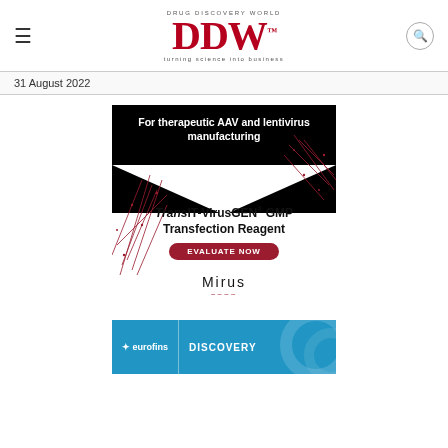DRUG DISCOVERY WORLD DDW turning science into business
31 August 2022
[Figure (advertisement): Mirus TransIT-VirusGEN GMP Transfection Reagent advertisement for therapeutic AAV and lentivirus manufacturing with EVALUATE NOW button]
[Figure (advertisement): Eurofins Discovery advertisement banner in blue]